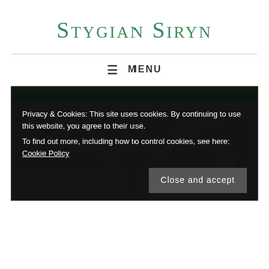Stygian Siryn
≡ MENU
[Figure (photo): Dark, low-light photograph of what appears to be antlers or dark branching shapes against a very dark background, with some books or items visible on the right side.]
Privacy & Cookies: This site uses cookies. By continuing to use this website, you agree to their use.
To find out more, including how to control cookies, see here: Cookie Policy
Close and accept